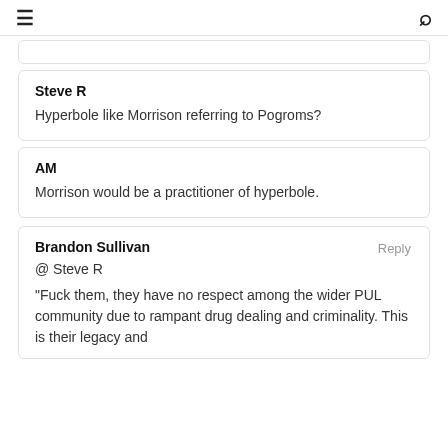≡   🔍
[partial comment card above - stub]
Steve R
Hyperbole like Morrison referring to Pogroms?
AM
Morrison would be a practitioner of hyperbole.
Brandon Sullivan
Reply
@ Steve R
"Fuck them, they have no respect among the wider PUL community due to rampant drug dealing and criminality. This is their legacy and